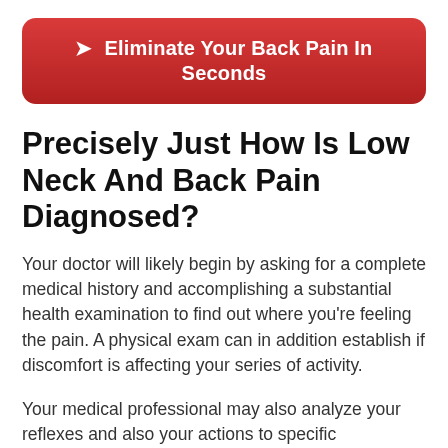[Figure (other): Red rounded banner button with arrow icon and bold white text: Eliminate Your Back Pain In Seconds]
Precisely Just How Is Low Neck And Back Pain Diagnosed?
Your doctor will likely begin by asking for a complete medical history and accomplishing a substantial health examination to find out where you're feeling the pain. A physical exam can in addition establish if discomfort is affecting your series of activity.
Your medical professional may also analyze your reflexes and also your actions to specific experiences. This determines if your